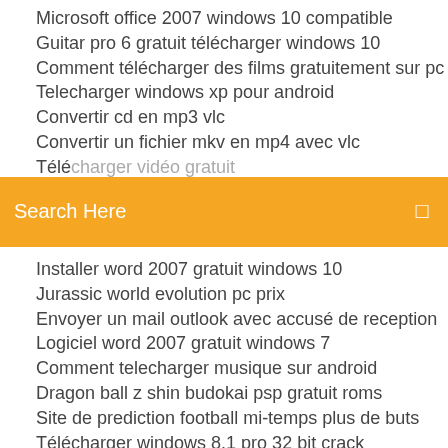Microsoft office 2007 windows 10 compatible
Guitar pro 6 gratuit télécharger windows 10
Comment télécharger des films gratuitement sur pc
Telecharger windows xp pour android
Convertir cd en mp3 vlc
Convertir un fichier mkv en mp4 avec vlc
Télé... (partially visible)
Search Here
Installer word 2007 gratuit windows 10
Jurassic world evolution pc prix
Envoyer un mail outlook avec accusé de reception
Logiciel word 2007 gratuit windows 7
Comment telecharger musique sur android
Dragon ball z shin budokai psp gratuit roms
Site de prediction football mi-temps plus de buts
Télécharger windows 8.1 pro 32 bit crack
Logiciel telecharger video facebook youtube
Jeux harry potter gratuit pour android